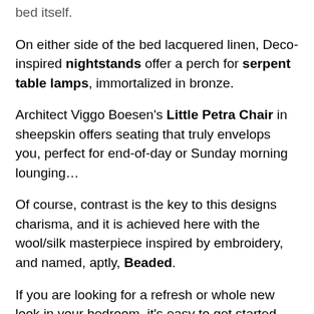bed itself.
On either side of the bed lacquered linen, Deco-inspired nightstands offer a perch for serpent table lamps, immortalized in bronze.
Architect Viggo Boesen's Little Petra Chair in sheepskin offers seating that truly envelops you, perfect for end-of-day or Sunday morning lounging...
Of course, contrast is the key to this designs charisma, and it is achieved here with the wool/silk masterpiece inspired by embroidery, and named, aptly, Beaded.
If you are looking for a refresh or whole new look in your bedroom, it's easy to get started with our online consultation. Just fill out the Design Questionnaire